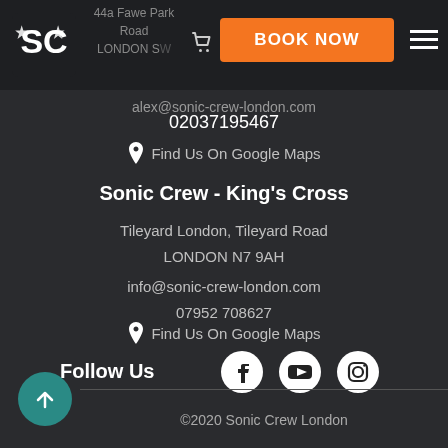Navigation bar with SC logo, cart icon, BOOK NOW button, and menu icon
44a Fawe Park Road
LONDON SW
alex@sonic-crew-london.com
02037195467
📍 Find Us On Google Maps
Sonic Crew - King's Cross
Tileyard London, Tileyard Road
LONDON N7 9AH
info@sonic-crew-london.com
07952 708627
📍 Find Us On Google Maps
Follow Us
[Figure (illustration): Social media icons: Facebook, YouTube, Instagram]
©2020 Sonic Crew London